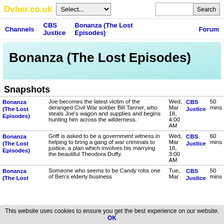Dvber.co.uk
Select... (dropdown) Search (search bar)
Channels | CBS Justice | Bonanza (The Lost Episodes) | Forum
Bonanza (The Lost Episodes)
Snapshots
| Show | Description | Date | Channel | Duration |
| --- | --- | --- | --- | --- |
| Bonanza (The Lost Episodes) | Joe becomes the latest victim of the deranged Civil War soldier Bill Tanner, who steals Joe's wagon and supplies and begins hunting him across the wilderness. | Wed, Mar 18, 4:00 AM | CBS Justice | 50 mins |
| Bonanza (The Lost Episodes) | Griff is asked to be a government witness in helping to bring a gang of war criminals to justice, a plan which involves his marrying the beautiful Theodora Duffy. | Wed, Mar 18, 3:00 AM | CBS Justice | 60 mins |
| Bonanza (The Lost Episodes) | Someone who seems to be Candy robs one of Ben's elderly business | Tue, Mar | CBS Justice | 50 mins |
This website uses cookies to ensure you get the best experience on our website. OK